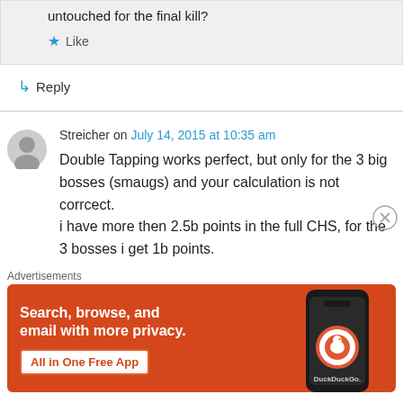untouched for the final kill?
★ Like
↳ Reply
Streicher on July 14, 2015 at 10:35 am
Double Tapping works perfect, but only for the 3 big bosses (smaugs) and your calculation is not corrcect.
i have more then 2.5b points in the full CHS, for the 3 bosses i get 1b points.
Advertisements
[Figure (screenshot): DuckDuckGo advertisement: 'Search, browse, and email with more privacy. All in One Free App' on orange background with phone image showing DuckDuckGo logo]